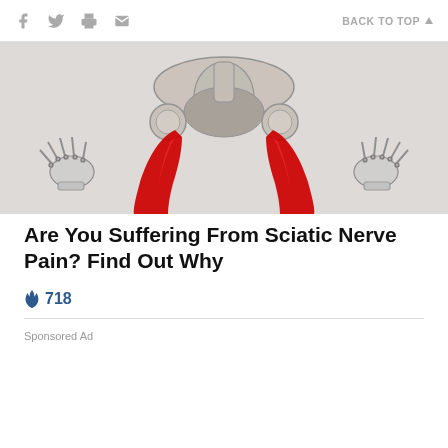Social share icons + BACK TO TOP
[Figure (illustration): Anatomical illustration showing a human skeletal/muscular diagram from behind with pelvis and torso bones visible, two large red highlighted muscle groups running vertically down from the pelvis (representing the sciatic nerve/piriformis muscles), and skeletal hands on both sides of the body against a light grey background.]
Are You Suffering From Sciatic Nerve Pain? Find Out Why
🔥 718
Sponsored Ad